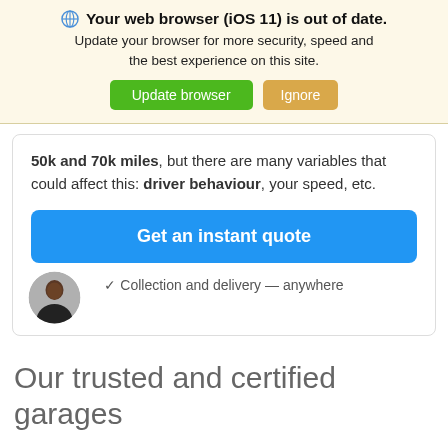🌐 Your web browser (iOS 11) is out of date. Update your browser for more security, speed and the best experience on this site. Update browser | Ignore
50k and 70k miles, but there are many variables that could affect this: driver behaviour, your speed, etc.
Get an instant quote
✓ Collection and delivery — anywhere
[Figure (photo): Circular avatar photo of a man in a dark jacket]
Our trusted and certified garages